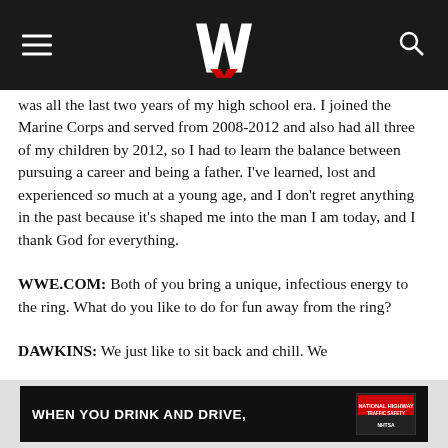WWE logo header with hamburger menu and search icon
was all the last two years of my high school era. I joined the Marine Corps and served from 2008-2012 and also had all three of my children by 2012, so I had to learn the balance between pursuing a career and being a father. I've learned, lost and experienced so much at a young age, and I don't regret anything in the past because it's shaped me into the man I am today, and I thank God for everything.
WWE.COM: Both of you bring a unique, infectious energy to the ring. What do you like to do for fun away from the ring?
DAWKINS: We just like to sit back and chill. We
[Figure (other): NHTSA advertisement banner: WHEN YOU DRINK AND DRIVE, with red badge and NHTSA logo]